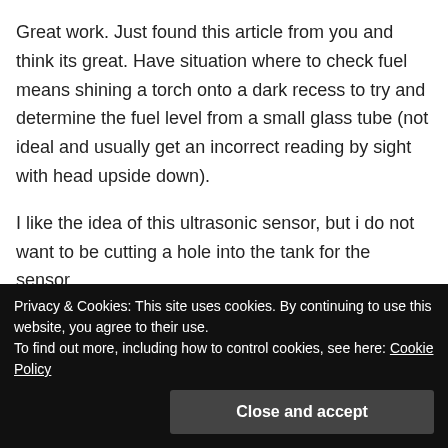Great work. Just found this article from you and think its great. Have situation where to check fuel means shining a torch onto a dark recess to try and determine the fuel level from a small glass tube (not ideal and usually get an incorrect reading by sight with head upside down).
I like the idea of this ultrasonic sensor, but i do not want to be cutting a hole into the tank for the sensor.
Can you recommend, a sensor that can be placed on top of the steel tank to get a reading? acuuracy isnt
appreciate the thoughts.
Privacy & Cookies: This site uses cookies. By continuing to use this website, you agree to their use.
To find out more, including how to control cookies, see here: Cookie Policy